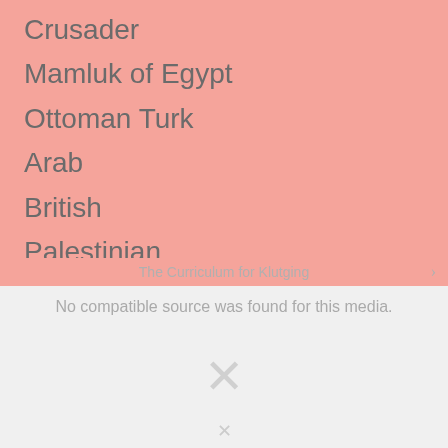Crusader
Mamluk of Egypt
Ottoman Turk
Arab
British
Palestinian
European Jew/Zionist
PLO/Hamas/Hezbollah
State of Israel
[Figure (screenshot): Video player overlay showing 'The Curriculum for Klutging' with no compatible source found message and an X icon placeholder]